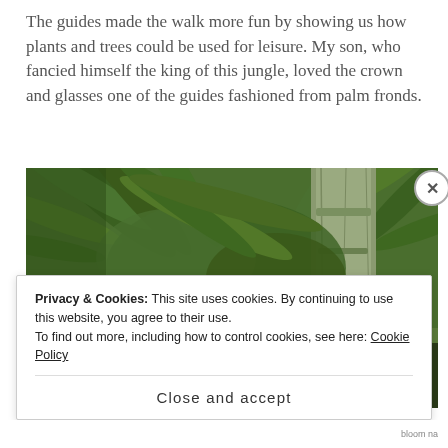The guides made the walk more fun by showing us how plants and trees could be used for leisure. My son, who fancied himself the king of this jungle, loved the crown and glasses one of the guides fashioned from palm fronds.
[Figure (photo): A young boy in a tropical jungle setting with tall trees and lush palm fronds in the background. The boy's head is visible at the bottom center of the image.]
Privacy & Cookies: This site uses cookies. By continuing to use this website, you agree to their use.
To find out more, including how to control cookies, see here: Cookie Policy
Close and accept